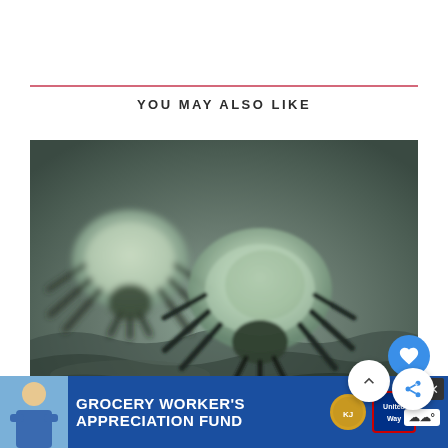YOU MAY ALSO LIKE
[Figure (photo): Close-up macro photograph of two dust mites on a fabric surface, showing their translucent round bodies and dark legs against a blurred gray-green background]
Where Do Dust Mites Come From?
[Figure (photo): Banner advertisement for Grocery Worker's Appreciation Fund featuring a person, Kendall Jackson and United Way logos]